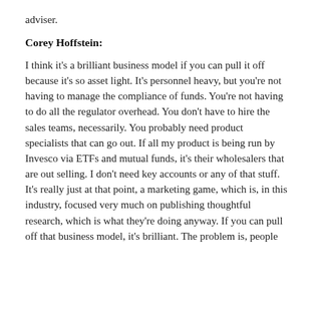adviser.
Corey Hoffstein:
I think it's a brilliant business model if you can pull it off because it's so asset light. It's personnel heavy, but you're not having to manage the compliance of funds. You're not having to do all the regulator overhead. You don't have to hire the sales teams, necessarily. You probably need product specialists that can go out. If all my product is being run by Invesco via ETFs and mutual funds, it's their wholesalers that are out selling. I don't need key accounts or any of that stuff. It's really just at that point, a marketing game, which is, in this industry, focused very much on publishing thoughtful research, which is what they're doing anyway. If you can pull off that business model, it's brilliant. The problem is, people